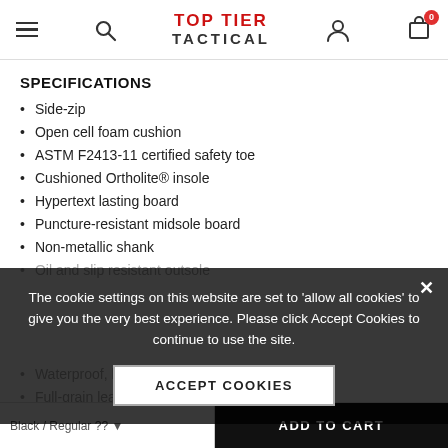Top Tier Tactical — navigation header with hamburger menu, search, logo, user, and cart icons
SPECIFICATIONS
Side-zip
Open cell foam cushion
ASTM F2413-11 certified safety toe
Cushioned Ortholite® insole
Hypertext lasting board
Puncture-resistant midsole board
Non-metallic shank
Oil and slip resistant outsole
Waterproof, breathable membrane lining
Full-grain leather
The cookie settings on this website are set to 'allow all cookies' to give you the very best experience. Please click Accept Cookies to continue to use the site.
ACCEPT COOKIES
Black / Regular ?? ▼   ADD TO CART